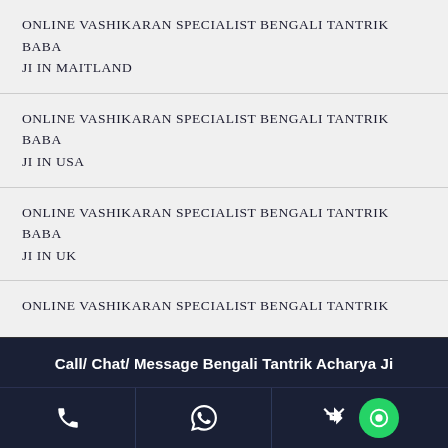ONLINE VASHIKARAN SPECIALIST BENGALI TANTRIK BABA JI IN MAITLAND
ONLINE VASHIKARAN SPECIALIST BENGALI TANTRIK BABA JI IN USA
ONLINE VASHIKARAN SPECIALIST BENGALI TANTRIK BABA JI IN UK
ONLINE VASHIKARAN SPECIALIST BENGALI TANTRIK BABA JI IN MALAYSIA
ONLINE VASHIKARAN SPECIALIST BENGALI TANTRIK BABA JI IN SINGAPORE
Call/ Chat/ Message Bengali Tantrik Acharya Ji